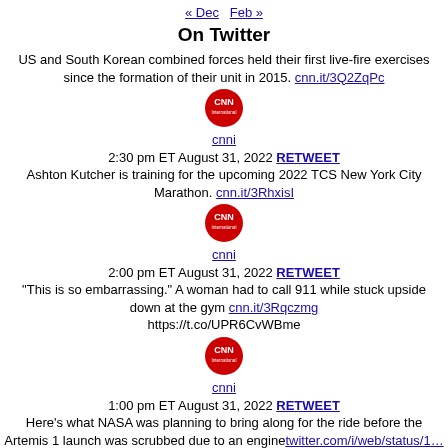« Dec   Feb »
On Twitter
US and South Korean combined forces held their first live-fire exercises since the formation of their unit in 2015. cnn.it/3Q2ZqPc
[Figure (logo): CNN International red circular logo]
cnni
2:30 pm ET August 31, 2022 RETWEET
Ashton Kutcher is training for the upcoming 2022 TCS New York City Marathon. cnn.it/3RhxisI
[Figure (logo): CNN International red circular logo]
cnni
2:00 pm ET August 31, 2022 RETWEET
"This is so embarrassing." A woman had to call 911 while stuck upside down at the gym cnn.it/3Rqczmg https://t.co/UPR6CvWBme
[Figure (logo): CNN International red circular logo]
cnni
1:00 pm ET August 31, 2022 RETWEET
Here's what NASA was planning to bring along for the ride before the Artemis 1 launch was scrubbed due to an enginetwitter.com/i/web/status/1…37xm
[Figure (logo): CNN International red circular logo (partial)]